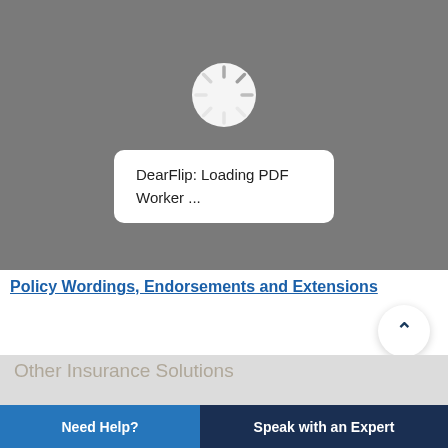[Figure (screenshot): Gray loading screen with a spinner icon and a white rounded box showing 'DearFlip: Loading PDF Worker ...']
Policy Wordings, Endorsements and Extensions
Other Insurance Solutions
Need Help?
Speak with an Expert